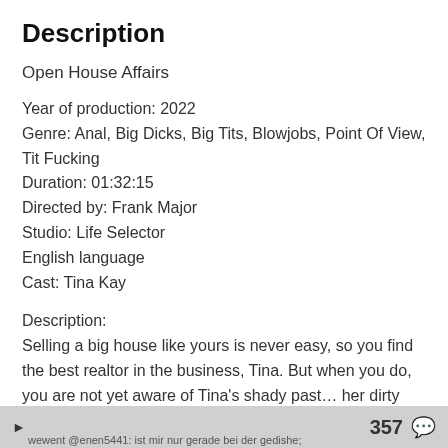Description
Open House Affairs
Year of production: 2022
Genre: Anal, Big Dicks, Big Tits, Blowjobs, Point Of View, Tit Fucking
Duration: 01:32:15
Directed by: Frank Major
Studio: Life Selector
English language
Cast: Tina Kay
Description:
Selling a big house like yours is never easy, so you find the best realtor in the business, Tina. But when you do, you are not yet aware of Tina's shady past… her dirty little habit that drags you into a big mess. In the end, you may have to do things you would reluctantly do otherwise, no matter how hot and arousing they are. You end up servicing the busty wife of an influential man, your hot friend, and of course Tina herself. And you better be a real stud, otherwise the
357